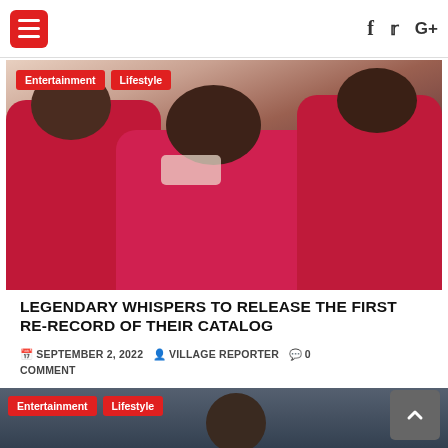Navigation header with hamburger menu and social icons (f, t, G+)
[Figure (photo): Group photo of men wearing matching red/maroon blazers]
Entertainment | Lifestyle
LEGENDARY WHISPERS TO RELEASE THE FIRST RE-RECORD OF THEIR CATALOG
SEPTEMBER 2, 2022  VILLAGE REPORTER  0 COMMENT
Legendary Whispers to Release the First Re-Record of Their...
[Figure (photo): Partial view of second article photo showing a person]
Entertainment | Lifestyle